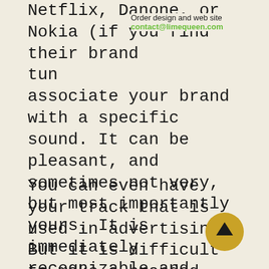Netflix, Danone, or Nokia (if you find their brand tun   associate your brand with a specific sound. It can be pleasant, and sometimes not very, but most importantly yours. It is immediately recognizable and makes it clear - this particular brand communicates with me.
Order design and web site
contact@limequeen.com
You can even have your track that is used in advertising. But it is difficult to make a branded song for a long time, because the advertising campaign will end, and it might be very convenient to drag the song from one advertisement to another.